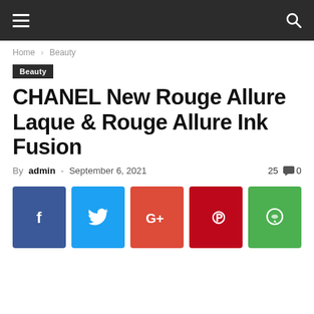Navigation bar with hamburger menu and search icon
Home › Beauty
Beauty
CHANEL New Rouge Allure Laque & Rouge Allure Ink Fusion
By admin - September 6, 2021  25  0
[Figure (other): Social share buttons: Facebook, Twitter, Google+, Pinterest, WhatsApp]